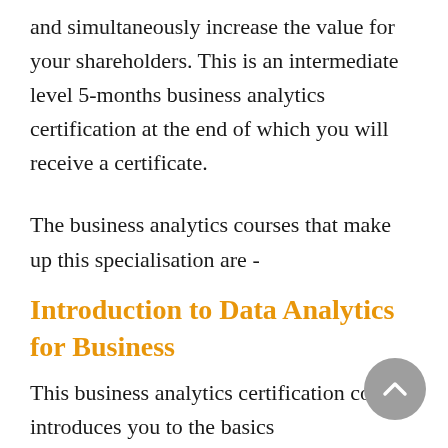and simultaneously increase the value for your shareholders. This is an intermediate level 5-months business analytics certification at the end of which you will receive a certificate.
The business analytics courses that make up this specialisation are -
Introduction to Data Analytics for Business
This business analytics certification course introduces you to the basics